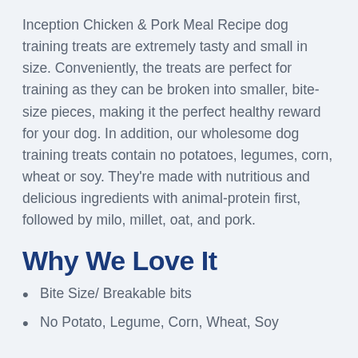Inception Chicken & Pork Meal Recipe dog training treats are extremely tasty and small in size. Conveniently, the treats are perfect for training as they can be broken into smaller, bite-size pieces, making it the perfect healthy reward for your dog. In addition, our wholesome dog training treats contain no potatoes, legumes, corn, wheat or soy. They're made with nutritious and delicious ingredients with animal-protein first, followed by milo, millet, oat, and pork.
Why We Love It
Bite Size/ Breakable bits
No Potato, Legume, Corn, Wheat, Soy